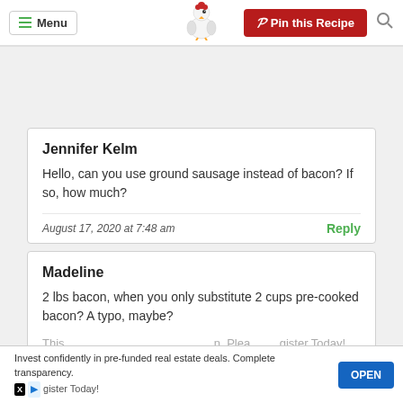Menu | Pin this Recipe
Jennifer Kelm
Hello, can you use ground sausage instead of bacon? If so, how much?
August 17, 2020 at 7:48 am
Reply
Madeline
2 lbs bacon, when you only substitute 2 cups pre-cooked bacon? A typo, maybe?
Invest confidently in pre-funded real estate deals. Complete transparency. Register Today!
OPEN